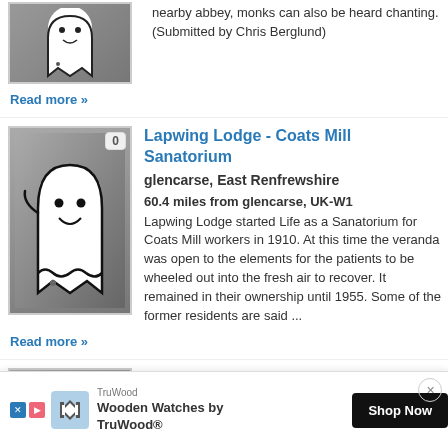[Figure (illustration): Partial view of ghost illustration on gray background, top of page]
nearby abbey, monks can also be heard chanting. (Submitted by Chris Berglund)
Read more »
[Figure (illustration): Ghost cartoon illustration on gray gradient background with counter badge showing 0]
Lapwing Lodge - Coats Mill Sanatorium
glencarse, East Renfrewshire
60.4 miles from glencarse, UK-W1
Lapwing Lodge started Life as a Sanatorium for Coats Mill workers in 1910. At this time the veranda was open to the elements for the patients to be wheeled out into the fresh air to recover. It remained in their ownership until 1955. Some of the former residents are said ...
Read more »
[Figure (illustration): Partial ghost cartoon illustration on gray background with counter badge showing 0]
Castle Fraser
glencarse, Aberdeenshire
UK-W1
[Figure (advertisement): TruWood Wooden Watches by TruWood advertisement banner with Shop Now button]